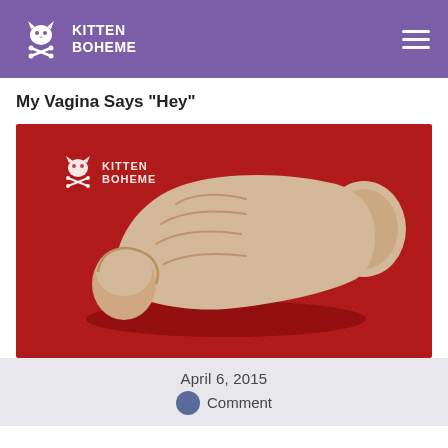KITTEN BOHEME
My Vagina Says "Hey"
[Figure (photo): A beige silicone adult toy photographed on a red glittery background, with the Kitten Boheme logo watermark in the upper left corner of the photo.]
April 6, 2015
Comment